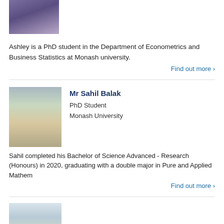[Figure (photo): Partial photo of a person in a suit at top of page]
Ashley is a PhD student in the Department of Econometrics and Business Statistics at Monash university.
Find out more >
[Figure (photo): Photo of Mr Sahil Balak sitting outdoors at a table in casual clothes]
Mr Sahil Balak
PhD Student
Monash University
Sahil completed his Bachelor of Science Advanced - Research (Honours) in 2020, graduating with a double major in Pure and Applied Mathem
Find out more >
[Figure (photo): Partial photo of another person at bottom of page]